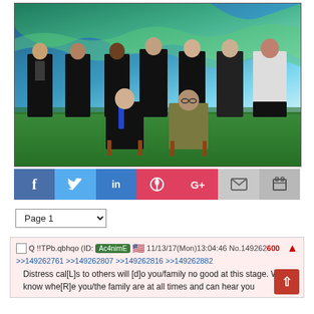[Figure (photo): Group photo of 8 people posing formally — six men standing in back row and one woman on right, two men seated in front — in front of a painted wave/ocean mural backdrop, on a green floor.]
[Figure (infographic): Social media sharing button bar with icons for Facebook (f), Twitter (bird), LinkedIn (in), Pinterest (circle-P), Google+ (G+), Email (envelope), Print (printer)]
Page 1 (dropdown selector)
Q !!TPb.qbhqo (ID: Ac4nimE) 11/13/17(Mon)13:04:46 No.149262600
>>149262761 >>149262807 >>149262816 >>149262882
Distress cal[L]s to others will [d]o you/family no good at this stage. We know whe[R]e you/the family are at all times and can hear you